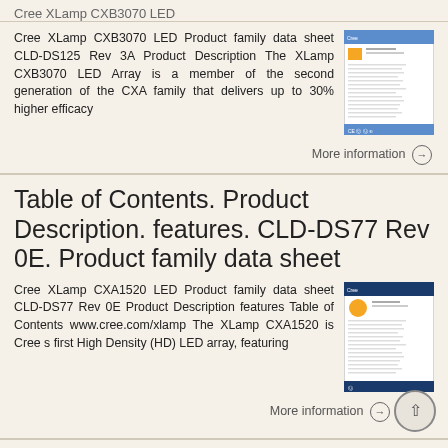Cree XLamp CXB3070 LED
Cree XLamp CXB3070 LED Product family data sheet CLD-DS125 Rev 3A Product Description The XLamp CXB3070 LED Array is a member of the second generation of the CXA family that delivers up to 30% higher efficacy
[Figure (photo): Thumbnail image of CXB3070 LED product datasheet document]
More information →
Table of Contents. Product Description. features. CLD-DS77 Rev 0E. Product family data sheet
Cree XLamp CXA1520 LED Product family data sheet CLD-DS77 Rev 0E Product Description features Table of Contents www.cree.com/xlamp The XLamp CXA1520 is Cree s first High Density (HD) LED array, featuring
[Figure (photo): Thumbnail image of CXA1520 LED product datasheet document]
More information →